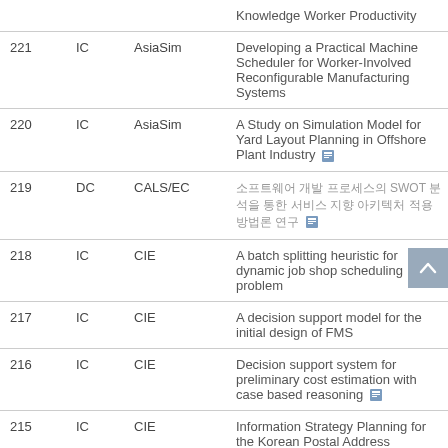| # | Type | Conference | Title |
| --- | --- | --- | --- |
|  |  |  | Knowledge Worker Productivity |
| 221 | IC | AsiaSim | Developing a Practical Machine Scheduler for Worker-Involved Reconfigurable Manufacturing Systems |
| 220 | IC | AsiaSim | A Study on Simulation Model for Yard Layout Planning in Offshore Plant Industry |
| 219 | DC | CALS/EC | [Korean text] SWOT [Korean text] |
| 218 | IC | CIE | A batch splitting heuristic for dynamic job shop scheduling problem |
| 217 | IC | CIE | A decision support model for the initial design of FMS |
| 216 | IC | CIE | Decision support system for preliminary cost estimation with case based reasoning |
| 215 | IC | CIE | Information Strategy Planning for the Korean Postal Address |